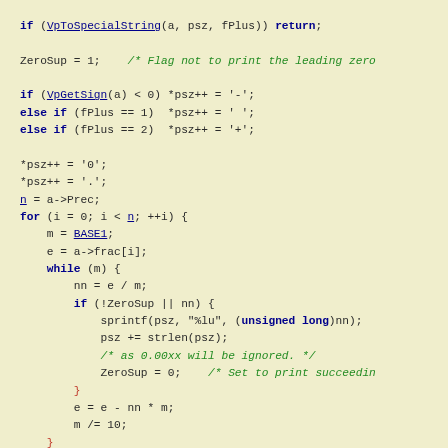if (VpToSpecialString(a, psz, fPlus)) return;

ZeroSup = 1;    /* Flag not to print the leading zero

if (VpGetSign(a) < 0) *psz++ = '-';
else if (fPlus == 1)  *psz++ = ' ';
else if (fPlus == 2)  *psz++ = '+';

*psz++ = '0';
*psz++ = '.';
n = a->Prec;
for (i = 0; i < n; ++i) {
    m = BASE1;
    e = a->frac[i];
    while (m) {
        nn = e / m;
        if (!ZeroSup || nn) {
            sprintf(psz, "%lu", (unsigned long)nn);
            psz += strlen(psz);
            /* as 0.00xx will be ignored. */
            ZeroSup = 0;    /* Set to print succeedin
        }
        e = e - nn * m;
        m /= 10;
    }
}
ex = a->exponent * (ssize_t)BASE_FIG;
shift = BASE1;
while (a->frac[0] / shift == 0) {